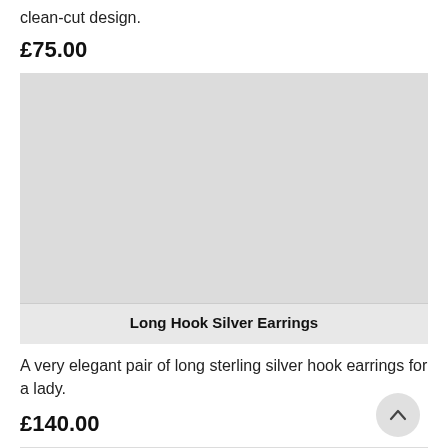clean-cut design.
£75.00
[Figure (photo): Product image placeholder for Long Hook Silver Earrings]
Long Hook Silver Earrings
A very elegant pair of long sterling silver hook earrings for a lady.
£140.00
[Figure (photo): Partially visible product image at bottom of page]